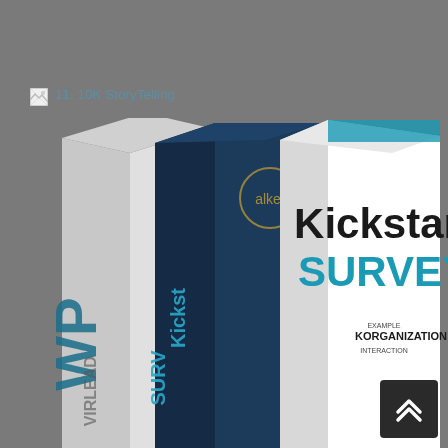[Figure (illustration): Broken image icon placeholder (small square with image broken icon)]
11. 10K StoryTelling
[Figure (photo): Product box set showing three software/course boxes: 'WP' box on left side, middle box with Alke branding and Kickstart text on spine, and main front-facing box reading 'Kickstart SURVEY' with organizational interaction text below, all rendered in dark blue, teal, and white colors against grey background]
[Figure (other): Scroll-to-top button with double chevron up arrows on dark background, bottom right corner]